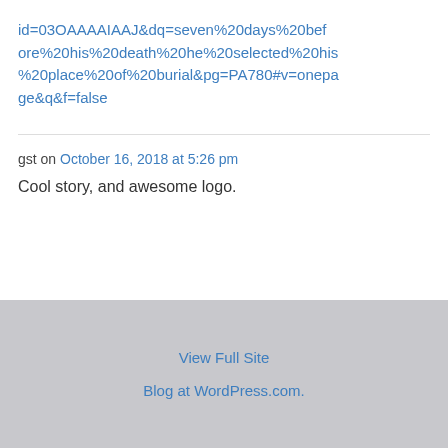id=03OAAAAIAAJ&dq=seven%20days%20before%20his%20death%20he%20selected%20his%20place%20of%20burial&pg=PA780#v=onepage&q&f=false
gst on October 16, 2018 at 5:26 pm
Cool story, and awesome logo.
View Full Site
Blog at WordPress.com.